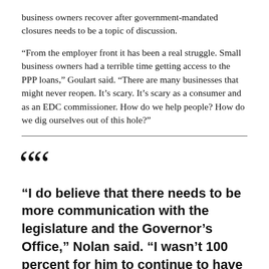business owners recover after government-mandated closures needs to be a topic of discussion.
“From the employer front it has been a real struggle. Small business owners had a terrible time getting access to the PPP loans,” Goulart said. “There are many businesses that might never reopen. It’s scary. It’s scary as a consumer and as an EDC commissioner. How do we help people? How do we dig ourselves out of this hole?”
“I do believe that there needs to be more communication with the legislature and the Governor’s Office,” Nolan said. “I wasn’t 100 percent for him to continue to have the executive